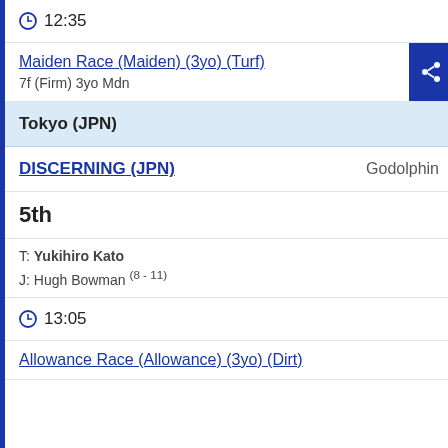12:35
Maiden Race (Maiden) (3yo) (Turf)
7f (Firm) 3yo Mdn
Tokyo (JPN)
DISCERNING (JPN)  Godolphin
5th
T: Yukihiro Kato
J: Hugh Bowman (8 - 11)
13:05
Allowance Race (Allowance) (3yo) (Dirt)